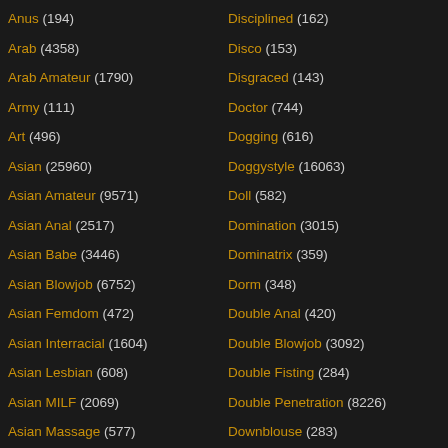Anus (194)
Arab (4358)
Arab Amateur (1790)
Army (111)
Art (496)
Asian (25960)
Asian Amateur (9571)
Asian Anal (2517)
Asian Babe (3446)
Asian Blowjob (6752)
Asian Femdom (472)
Asian Interracial (1604)
Asian Lesbian (608)
Asian MILF (2069)
Asian Massage (577)
Asian Teen (5257)
Disciplined (162)
Disco (153)
Disgraced (143)
Doctor (744)
Dogging (616)
Doggystyle (16063)
Doll (582)
Domination (3015)
Dominatrix (359)
Dorm (348)
Double Anal (420)
Double Blowjob (3092)
Double Fisting (284)
Double Penetration (8226)
Downblouse (283)
Dream (390)